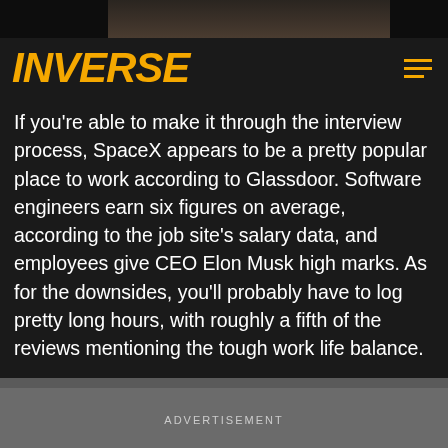[Figure (photo): Dark background image at the top of the page, partially obscured with black bars on the left and right corners.]
INVERSE
If you’re able to make it through the interview process, SpaceX appears to be a pretty popular place to work according to Glassdoor. Software engineers earn six figures on average, according to the job site’s salary data, and employees give CEO Elon Musk high marks. As for the downsides, you’ll probably have to log pretty long hours, with roughly a fifth of the reviews mentioning the tough work life balance.
ADVERTISEMENT